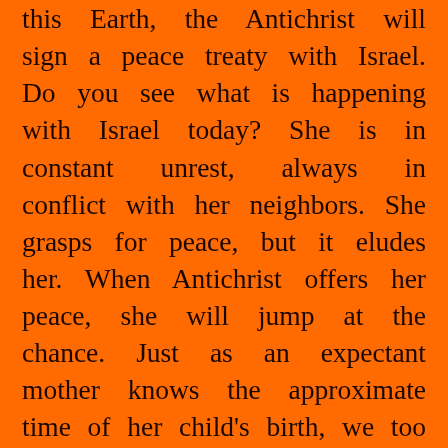this Earth, the Antichrist will sign a peace treaty with Israel. Do you see what is happening with Israel today? She is in constant unrest, always in conflict with her neighbors. She grasps for peace, but it eludes her. When Antichrist offers her peace, she will jump at the chance. Just as an expectant mother knows the approximate time of her child's birth, we too can know the approximate time of Christ's return for the church at the Rapture (1 Thes. 5:1-6).
Matthew 24:34 Verily I say unto you, This generation shall not pass, till all these things be fulfilled. [KJV] . . . "Listen to Me," Jesus says. Generation means time, age or age group,